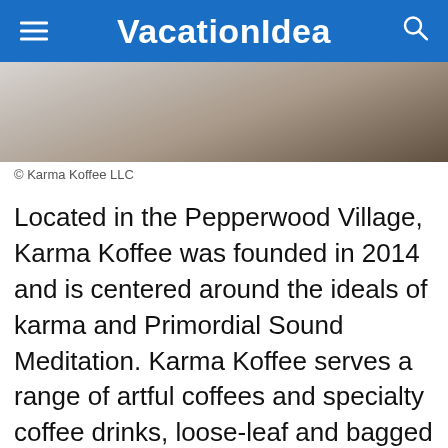VacationIdea
[Figure (photo): Close-up photo of a coffee drink, partially visible at the top of the page]
© Karma Koffee LLC
Located in the Pepperwood Village, Karma Koffee was founded in 2014 and is centered around the ideals of karma and Primordial Sound Meditation. Karma Koffee serves a range of artful coffees and specialty coffee drinks, loose-leaf and bagged teas from The Tea Smith, and juices, as well as made-from-scratch food like homemade soups, gourmet sandwiches, salads, freshly baked pastries, and other great treats. Karma Koffee also